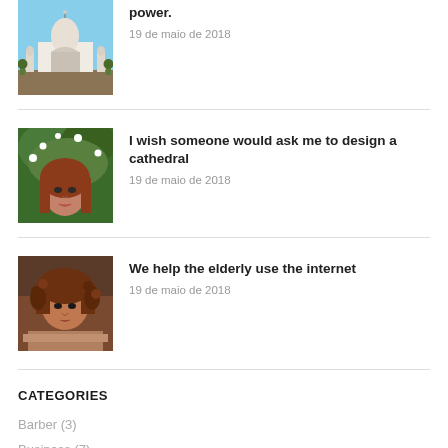[Figure (photo): Taj Mahal building photo thumbnail]
power.
19 de maio de 2018
[Figure (photo): Woman with red hair among white flowers photo thumbnail]
I wish someone would ask me to design a cathedral
19 de maio de 2018
[Figure (photo): Woman with curly hair and scarf photo thumbnail]
We help the elderly use the internet
19 de maio de 2018
CATEGORIES
Barber (3)
Business (7)